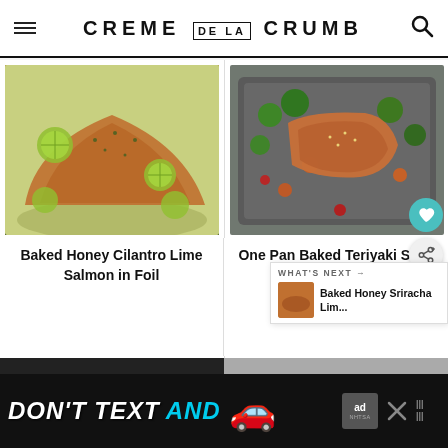CREME DE LA CRUMB
[Figure (photo): Baked salmon fillet on foil with lime slices and herbs]
[Figure (photo): One pan baked teriyaki salmon with roasted vegetables in a dark pan]
Baked Honey Cilantro Lime Salmon in Foil
One Pan Baked Teriyaki Salmon with Vegetables
WHAT'S NEXT → Baked Honey Sriracha Lim...
[Figure (screenshot): Advertisement: DON'T TEXT AND (car emoji) ad badge NHTSA close button]